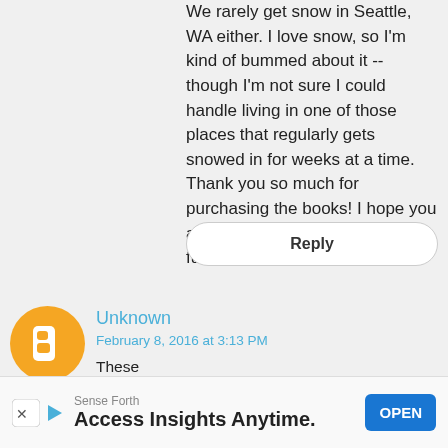We rarely get snow in Seattle, WA either. I love snow, so I'm kind of bummed about it -- though I'm not sure I could handle living in one of those places that regularly gets snowed in for weeks at a time. Thank you so much for purchasing the books! I hope you and your little guy have a ton of fun with them! <3
Reply
[Figure (illustration): Orange Blogger avatar icon — circle with white 'B' letter logo]
Unknown
February 8, 2016 at 3:13 PM
These projects are so awesome. I have 2 girls a 9 year old and a 1 year old and can not wait to try some of these aactivities. How
Sense Forth
Access Insights Anytime.
OPEN